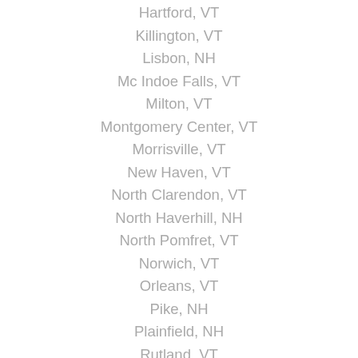Hartford, VT
Killington, VT
Lisbon, NH
Mc Indoe Falls, VT
Milton, VT
Montgomery Center, VT
Morrisville, VT
New Haven, VT
North Clarendon, VT
North Haverhill, NH
North Pomfret, VT
Norwich, VT
Orleans, VT
Pike, NH
Plainfield, NH
Rutland, VT